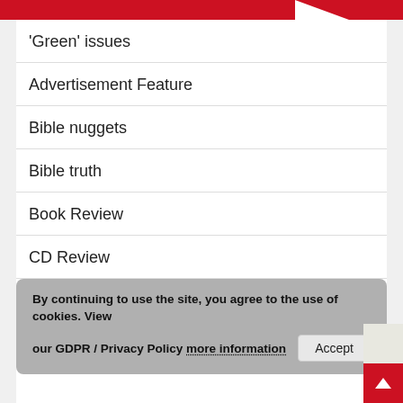'Green' issues
Advertisement Feature
Bible nuggets
Bible truth
Book Review
CD Review
Comment
Coronavirus
By continuing to use the site, you agree to the use of cookies. View our GDPR / Privacy Policy more information  Accept